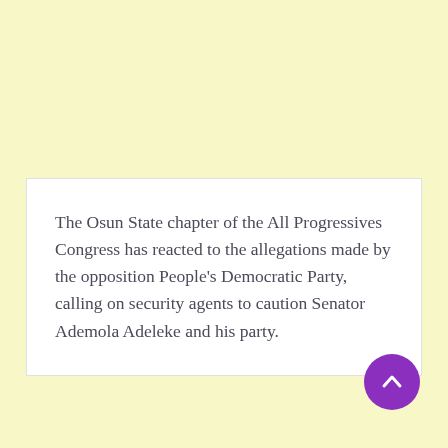The Osun State chapter of the All Progressives Congress has reacted to the allegations made by the opposition People's Democratic Party, calling on security agents to caution Senator Ademola Adeleke and his party.
[Figure (other): Purple circular scroll-to-top button with upward chevron arrow]